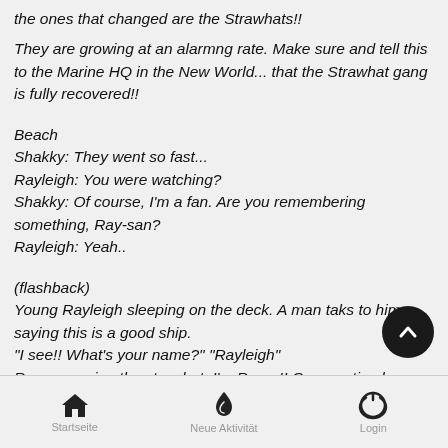the ones that changed are the Strawhats!!
They are growing at an alarmng rate. Make sure and tell this to the Marine HQ in the New World... that the Strawhat gang is fully recovered!!
Beach
Shakky: They went so fast...
Rayleigh: You were watching?
Shakky: Of course, I'm a fan. Are you remembering something, Ray-san?
Rayleigh: Yeah..
(flashback)
Young Rayleigh sleeping on the deck. A man taks to him, saying this is a good ship.
"I see!! What's your name?" "Rayleigh"
Roger wearing the strawhat: I'm Roger!! Our meeting here fated. Say, why don't you join me to turn this world upside
Startseite   Neue Aktivität   Login